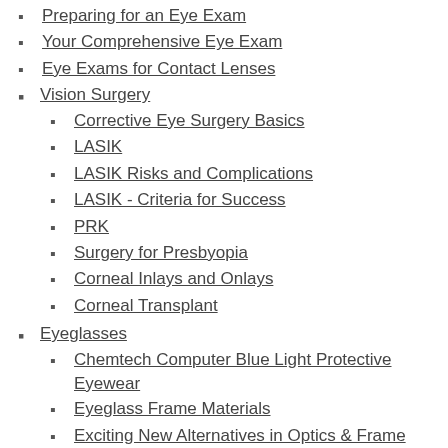Preparing for an Eye Exam
Your Comprehensive Eye Exam
Eye Exams for Contact Lenses
Vision Surgery
Corrective Eye Surgery Basics
LASIK
LASIK Risks and Complications
LASIK - Criteria for Success
PRK
Surgery for Presbyopia
Corneal Inlays and Onlays
Corneal Transplant
Eyeglasses
Chemtech Computer Blue Light Protective Eyewear
Eyeglass Frame Materials
Exciting New Alternatives in Optics & Frame Technologies